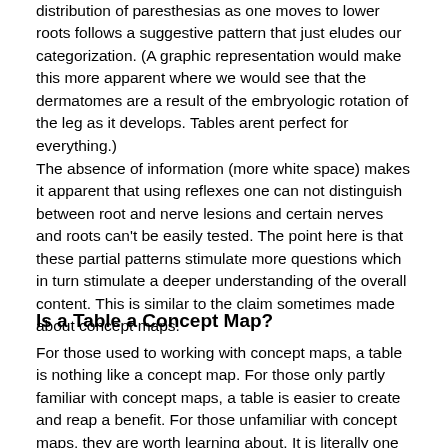distribution of paresthesias as one moves to lower roots follows a suggestive pattern that just eludes our categorization. (A graphic representation would make this more apparent where we would see that the dermatomes are a result of the embryologic rotation of the leg as it develops. Tables arent perfect for everything.)
The absence of information (more white space) makes it apparent that using reflexes one can not distinguish between root and nerve lesions and certain nerves and roots can't be easily tested. The point here is that these partial patterns stimulate more questions which in turn stimulate a deeper understanding of the overall content. This is similar to the claim sometimes made about concept maps.
Is a Table a Concept Map?
For those used to working with concept maps, a table is nothing like a concept map. For those only partly familiar with concept maps, a table is easier to create and reap a benefit. For those unfamiliar with concept maps, they are worth learning about. It is literally one of the more important factors related to both the